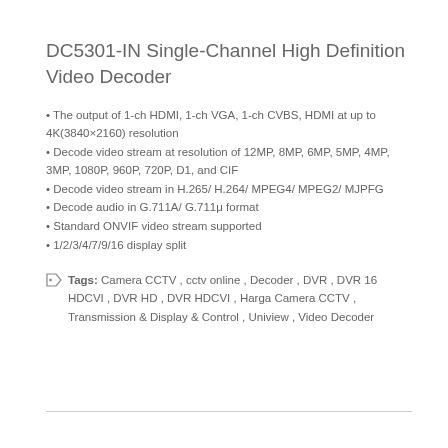DC5301-IN Single-Channel High Definition Video Decoder
The output of 1-ch HDMI, 1-ch VGA, 1-ch CVBS, HDMI at up to 4K(3840×2160) resolution
Decode video stream at resolution of 12MP, 8MP, 6MP, 5MP, 4MP, 3MP, 1080P, 960P, 720P, D1, and CIF
Decode video stream in H.265/ H.264/ MPEG4/ MPEG2/ MJPFG
Decode audio in G.711A/ G.711μ format
Standard ONVIF video stream supported
1/2/3/4/7/9/16 display split
Tags: Camera CCTV , cctv online , Decoder , DVR , DVR 16 HDCVI , DVR HD , DVR HDCVI , Harga Camera CCTV , Transmission & Display & Control , Uniview , Video Decoder